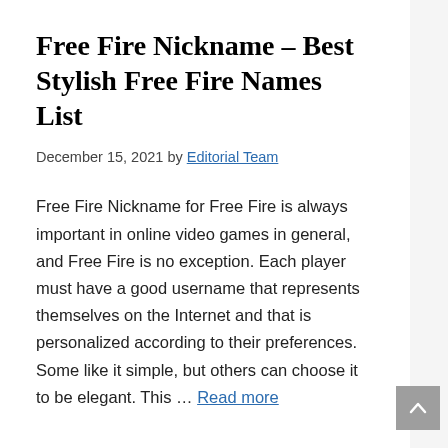Free Fire Nickname – Best Stylish Free Fire Names List
December 15, 2021 by Editorial Team
Free Fire Nickname for Free Fire is always important in online video games in general, and Free Fire is no exception. Each player must have a good username that represents themselves on the Internet and that is personalized according to their preferences. Some like it simple, but others can choose it to be elegant. This … Read more